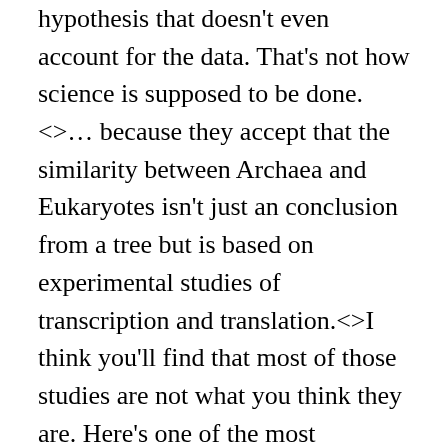hypothesis that doesn't even account for the data. That's not how science is supposed to be done.<>… because they accept that the similarity between Archaea and Eukaryotes isn't just an conclusion from a tree but is based on experimental studies of transcription and translation.<>I think you'll find that most of those studies are not what you think they are. Here's one of the most important facts that workers overlook: not all bacteria are like <>E. coi<>.Most of the published studies show some differences between arachaebacterial processes and those in <>E. coli<>. They conveniently ignore the fact that <>E. coli<> also differs from gram positive bacteria such as <>B. subtilis<> and other distantly related species such as the cyanobacteria. That's something